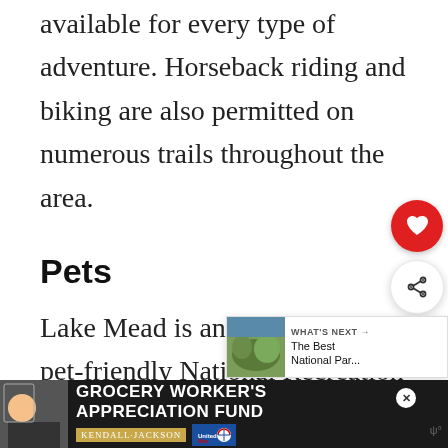available for every type of adventure. Horseback riding and biking are also permitted on numerous trails throughout the area.
Pets
Lake Mead is another incredibly pet-friendly National Recreation area. Pets will enjoy walking all trails, developed areas, and
[Figure (other): UI overlay with heart (favorite) button in red circle and share button in white circle]
[Figure (other): What's Next widget showing thumbnail image of landscape and text 'The Best National Par...']
[Figure (other): Advertisement banner: Grocery Worker's Appreciation Fund with Kendall Jackson and United Way logos]